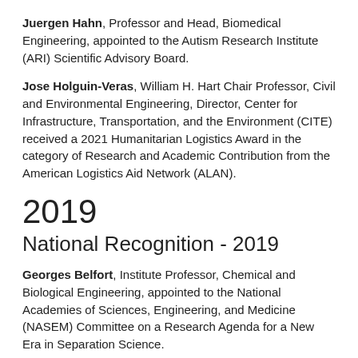Juergen Hahn, Professor and Head, Biomedical Engineering, appointed to the Autism Research Institute (ARI) Scientific Advisory Board.
Jose Holguin-Veras, William H. Hart Chair Professor, Civil and Environmental Engineering, Director, Center for Infrastructure, Transportation, and the Environment (CITE) received a 2021 Humanitarian Logistics Award in the category of Research and Academic Contribution from the American Logistics Aid Network (ALAN).
2019
National Recognition - 2019
Georges Belfort, Institute Professor, Chemical and Biological Engineering, appointed to the National Academies of Sciences, Engineering, and Medicine (NASEM) Committee on a Research Agenda for a New Era in Separation Science.
Kristen Mills, Assistant Professor, Mechanical, Aerospace, and Nuclear Engineering was awarded a Faculty Early Career